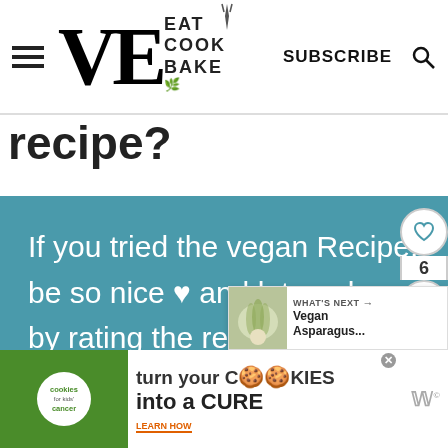VE EAT COOK BAKE — SUBSCRIBE
recipe?
If you tried the vegan Recipe, be so nice ♥ and let me know by rating the recipe and writing what you think about it in the comments.  I would love
[Figure (screenshot): What's Next panel showing Vegan Asparagus... with thumbnail]
[Figure (infographic): Cookies for Kids Cancer ad: turn your COOKIES into a CURE LEARN HOW]